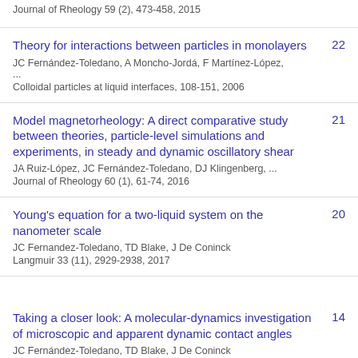Journal of Rheology 59 (2), 473-458, 2015
Theory for interactions between particles in monolayers
JC Fernández-Toledano, A Moncho-Jordá, F Martínez-López, ...
Colloidal particles at liquid interfaces, 108-151, 2006
22
Model magnetorheology: A direct comparative study between theories, particle-level simulations and experiments, in steady and dynamic oscillatory shear
JA Ruiz-López, JC Fernández-Toledano, DJ Klingenberg, ...
Journal of Rheology 60 (1), 61-74, 2016
21
Young's equation for a two-liquid system on the nanometer scale
JC Fernandez-Toledano, TD Blake, J De Coninck
Langmuir 33 (11), 2929-2938, 2017
20
Taking a closer look: A molecular-dynamics investigation of microscopic and apparent dynamic contact angles
JC Fernández-Toledano, TD Blake, J De Coninck
14